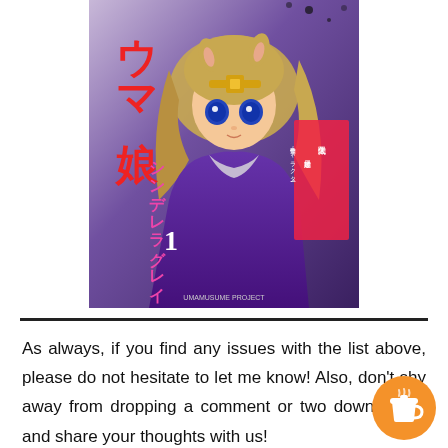[Figure (illustration): Manga volume cover for Uma Musume: Cinderella Gray volume 1, showing an anime-style horse girl character with blonde hair, blue eyes, wearing a purple racing suit, with Japanese text and author credits on the cover.]
As always, if you find any issues with the list above, please do not hesitate to let me know! Also, don't shy away from dropping a comment or two down below and share your thoughts with us!
[Figure (illustration): Buy me a coffee orange circular button icon with a coffee cup graphic.]